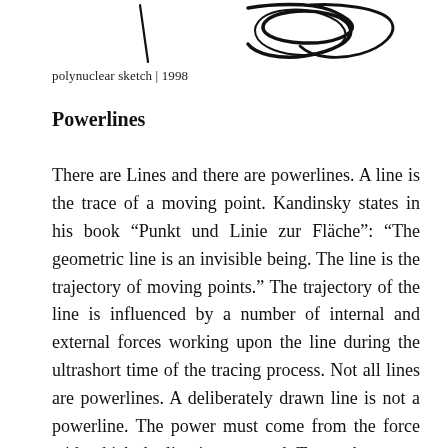[Figure (illustration): Partial view of a hand-drawn sketch in black ink, showing gestural lines — appears to be part of a 'polynuclear' abstract drawing from 1998. Visible are rapid, looping pen strokes suggesting movement or energy.]
polynuclear sketch | 1998
Powerlines
There are Lines and there are powerlines. A line is the trace of a moving point. Kandinsky states in his book “Punkt und Linie zur Fläche”: “The geometric line is an invisible being. The line is the trajectory of moving points.” The trajectory of the line is influenced by a number of internal and external forces working upon the line during the ultrashort time of the tracing process. Not all lines are powerlines. A deliberately drawn line is not a powerline. The power must come from the force with which the line is expressed. To me the power of a line comes from the speed with which is has been put on paper, or traced in 3d digital